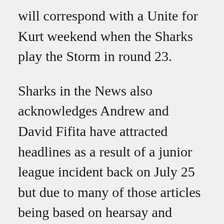will correspond with a Unite for Kurt weekend when the Sharks play the Storm in round 23.
Sharks in the News also acknowledges Andrew and David Fifita have attracted headlines as a result of a junior league incident back on July 25 but due to many of those articles being based on hearsay and opinion, have chosen not to reproduce in this editorial.
Match reports
Sharks v Warriors – SBS - CLICK HERE
http://www.sbs.com.au/news/article/2015/08/02/sha